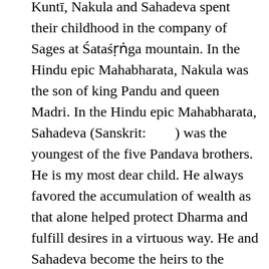Kuntī, Nakula and Sahadeva spent their childhood in the company of Sages at Śataśṛṅga mountain. In the Hindu epic Mahabharata, Nakula was the son of king Pandu and queen Madri. In the Hindu epic Mahabharata, Sahadeva (Sanskrit:        ) was the youngest of the five Pandava brothers. He is my most dear child. He always favored the accumulation of wealth as that alone helped protect Dharma and fulfill desires in a virtuous way. He and Sahadeva become the heirs to the throne, but Sahadeva told his uncle on one condition: they will always stay with the Pāṇḍavas. He flows in Mahabharata like a Guptagaminee river, invisible but monumentally essential. On the